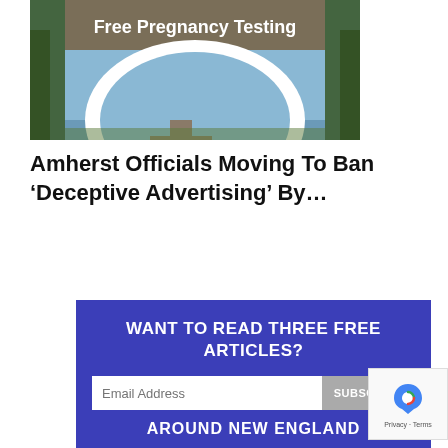[Figure (photo): Outdoor sign reading 'Free Pregnancy Testing' with a light blue background, white arch shape, and a dark brown top band, surrounded by trees]
Amherst Officials Moving To Ban ‘Deceptive Advertising’ By…
WANT TO READ THREE FREE ARTICLES?
Email Address
SUBSCRIBE
AROUND NEW ENGLAND